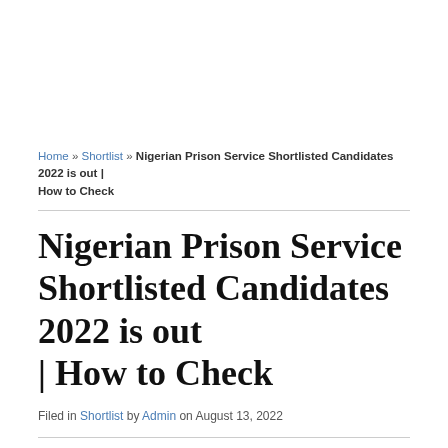Home » Shortlist » Nigerian Prison Service Shortlisted Candidates 2022 is out | How to Check
Nigerian Prison Service Shortlisted Candidates 2022 is out | How to Check
Filed in Shortlist by Admin on August 13, 2022